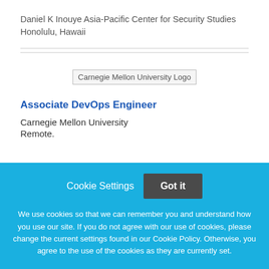Daniel K Inouye Asia-Pacific Center for Security Studies
Honolulu, Hawaii
[Figure (logo): Carnegie Mellon University Logo placeholder image]
Associate DevOps Engineer
Carnegie Mellon University
Remote.
Cookie Settings
Got it
We use cookies so that we can remember you and understand how you use our site. If you do not agree with our use of cookies, please change the current settings found in our Cookie Policy. Otherwise, you agree to the use of the cookies as they are currently set.